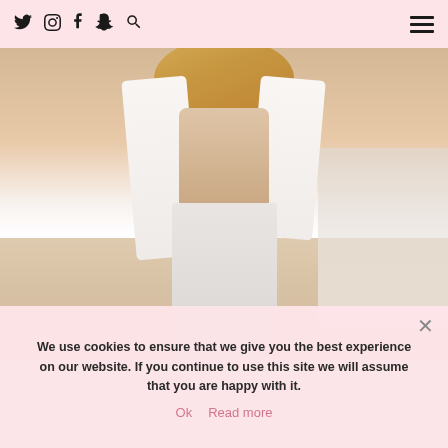Twitter Instagram Facebook Snapchat Search [hamburger menu]
[Figure (photo): Fashion photo of a blonde woman wearing a white jacket/coat, beige ribbed sweater, and white pants, posed outdoors at a sandy/beach location with a bench visible]
We use cookies to ensure that we give you the best experience on our website. If you continue to use this site we will assume that you are happy with it.
Ok   Read more